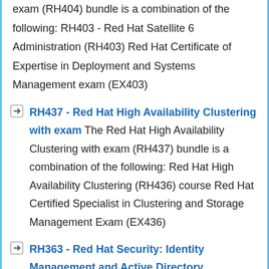exam (RH404) bundle is a combination of the following: RH403 - Red Hat Satellite 6 Administration (RH403) Red Hat Certificate of Expertise in Deployment and Systems Management exam (EX403)
RH437 - Red Hat High Availability Clustering with exam The Red Hat High Availability Clustering with exam (RH437) bundle is a combination of the following: Red Hat High Availability Clustering (RH436) course Red Hat Certified Specialist in Clustering and Storage Management Exam (EX436)
RH363 - Red Hat Security: Identity Management and Active Directory Integration with exam Red Hat Security: Identity Management and Active Directory Integration with exam (RH363) provides the skills to configure and manage IdM, the comprehensive Identity